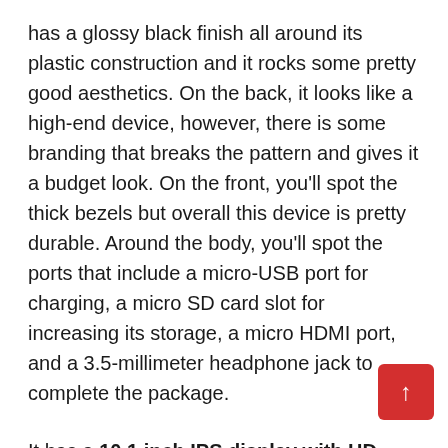has a glossy black finish all around its plastic construction and it rocks some pretty good aesthetics. On the back, it looks like a high-end device, however, there is some branding that breaks the pattern and gives it a budget look. On the front, you'll spot the thick bezels but overall this device is pretty durable. Around the body, you'll spot the ports that include a micro-USB port for charging, a micro SD card slot for increasing its storage, a micro HDMI port, and a 3.5-millimeter headphone jack to complete the package.
It has a 10.1 inch IPS display with HD resolution and delivers a great feeling quality. It's pretty sharp and colorful overall. For performance, it's equipped with an MT 8167 quad-core CPU with one gigabyte RAM, 16 gigabytes of storage, and combined with the operating system, everything works pretty smoothly. A